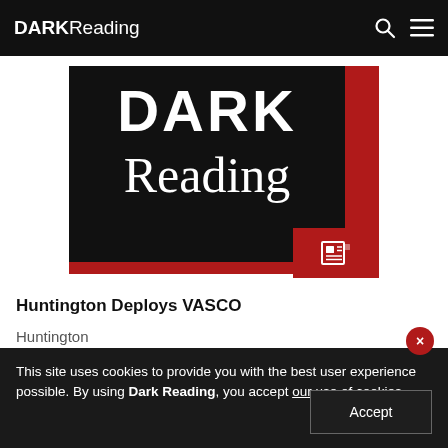DARK Reading
[Figure (logo): Dark Reading logo — large black rectangle with white 'DARK' bold and 'Reading' serif text, red corner accent and red icon block with newspaper icon]
Huntington Deploys VASCO
Huntington (partial, obscured by cookie banner)
This site uses cookies to provide you with the best user experience possible. By using Dark Reading, you accept our use of cookies.
Accept